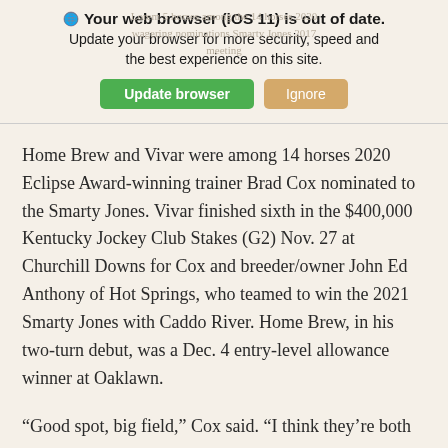[Figure (screenshot): Browser out-of-date warning banner with iOS 11 message, 'Update browser' green button and 'Ignore' tan button, overlaid on partially visible background article text.]
Home Brew and Vivar were among 14 horses 2020 Eclipse Award-winning trainer Brad Cox nominated to the Smarty Jones. Vivar finished sixth in the $400,000 Kentucky Jockey Club Stakes (G2) Nov. 27 at Churchill Downs for Cox and breeder/owner John Ed Anthony of Hot Springs, who teamed to win the 2021 Smarty Jones with Caddo River. Home Brew, in his two-turn debut, was a Dec. 4 entry-level allowance winner at Oaklawn.
“Good spot, big field,” Cox said. “I think they’re both